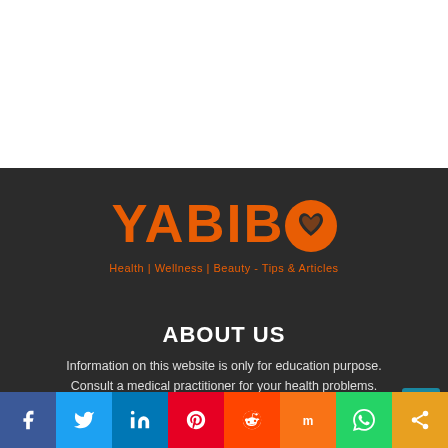[Figure (logo): YABIBO logo in orange on dark background with a heart/smiley icon replacing the last O, tagline: Health | Wellness | Beauty - Tips & Articles]
ABOUT US
Information on this website is only for education purpose. Consult a medical practitioner for your health problems.
[Figure (infographic): Social media sharing bar with Facebook, Twitter, LinkedIn, Pinterest, Reddit, Mix, WhatsApp, and Share buttons]